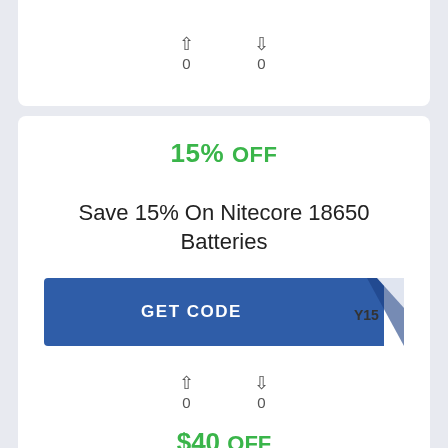[Figure (screenshot): Top partial card showing vote arrows and counts (0 up, 0 down)]
15% OFF
Save 15% On Nitecore 18650 Batteries
[Figure (screenshot): GET CODE button with page-curl effect showing 'Y15']
0 0 (vote counts)
$40 OFF